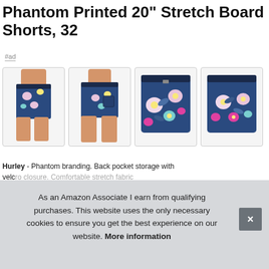Phantom Printed 20" Stretch Board Shorts, 32
#ad
[Figure (photo): Four product images of Hurley floral board shorts — front side view, back view, flat lay front, flat lay closeup]
Hurley - Phantom branding. Back pocket storage with velcro. This website uses the only necessary cookies to ensure you get the best experience on our website.
As an Amazon Associate I earn from qualifying purchases. This website uses the only necessary cookies to ensure you get the best experience on our website. More information